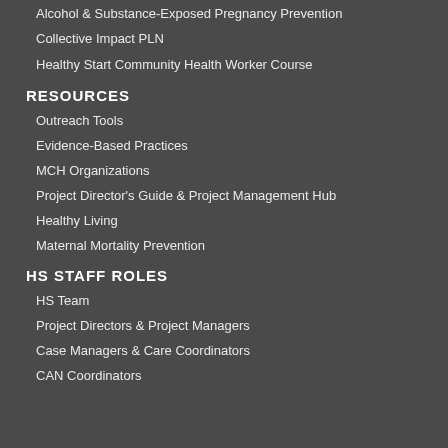Alcohol & Substance-Exposed Pregnancy Prevention
Collective Impact PLN
Healthy Start Community Health Worker Course
RESOURCES
Outreach Tools
Evidence-Based Practices
MCH Organizations
Project Director's Guide & Project Management Hub
Healthy Living
Maternal Mortality Prevention
HS STAFF ROLES
HS Team
Project Directors & Project Managers
Case Managers & Care Coordinators
CAN Coordinators